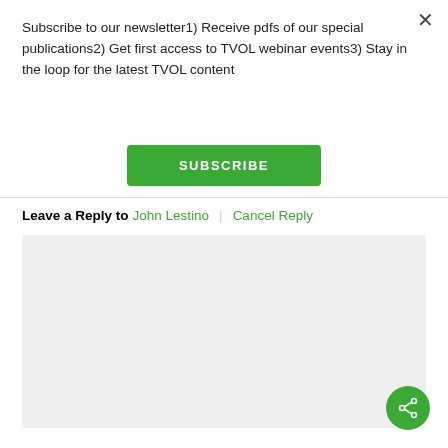Subscribe to our newsletter1) Receive pdfs of our special publications2) Get first access to TVOL webinar events3) Stay in the loop for the latest TVOL content
SUBSCRIBE
Leave a Reply to John Lestino | Cancel Reply
[Figure (other): Comment text area input box (gray background, empty)]
[Figure (other): Green circular share/social button with share icon]